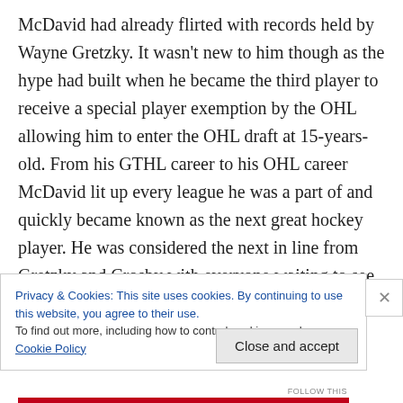McDavid had already flirted with records held by Wayne Gretzky. It wasn't new to him though as the hype had built when he became the third player to receive a special player exemption by the OHL allowing him to enter the OHL draft at 15-years-old. From his GTHL career to his OHL career McDavid lit up every league he was a part of and quickly became known as the next great hockey player. He was considered the next in line from Gretzky and Crosby with everyone waiting to see what he can do when he gets to the NHL. He was the talk of the league and leading up to the draft the lottery became a primetime
Privacy & Cookies: This site uses cookies. By continuing to use this website, you agree to their use.
To find out more, including how to control cookies, see here: Cookie Policy